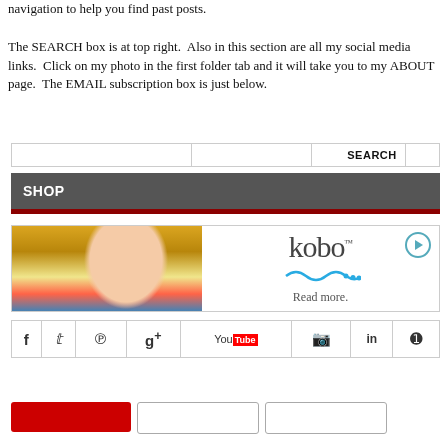navigation to help you find past posts.

The SEARCH box is at top right.  Also in this section are all my social media links.  Click on my photo in the first folder tab and it will take you to my ABOUT page.  The EMAIL subscription box is just below.
[Figure (screenshot): A website navigation bar with SEARCH tab on right, followed by a dark gray SHOP bar with a red accent stripe at the bottom.]
[Figure (screenshot): A Kobo e-reader advertisement banner showing a woman peeking over colorful hammock straps on the left, and the Kobo logo with 'Read more.' tagline on the right.]
[Figure (screenshot): Social media icon bar with icons for Facebook, Twitter, Pinterest, Google+, YouTube, Instagram, LinkedIn, and RSS.]
[Figure (screenshot): Bottom button bar showing red button and additional outlined buttons.]